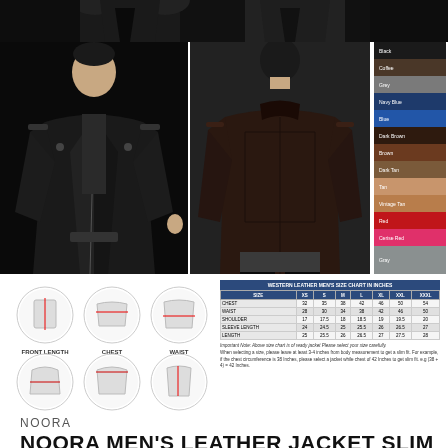[Figure (photo): Top strip showing partial view of black leather jackets on models, cropped at top]
[Figure (photo): Man wearing black leather biker jacket, front view]
[Figure (photo): Man wearing dark brown/black leather biker jacket, back view]
[Figure (illustration): Color swatch chart showing leather colors: Black, Coffee, Grey, Navy Blue, Blue, Dark Brown, Brown, Dark Tan, Tan, Vintage Tan, Red, Cerise Red, Gray]
[Figure (illustration): Measurement guide showing 6 circles with icons for Front Length, Chest, Waist, Hip, Shoulder, Sleeves measurements]
| SIZE | XS | S | M | L | XL | XXL | XXXL |
| --- | --- | --- | --- | --- | --- | --- | --- |
| CHEST | 32 | 35 | 38 | 42 | 46 | 50 | 54 |
| WAIST | 28 | 30 | 34 | 38 | 42 | 46 | 50 |
| SHOULDER | 17 | 17.5 | 18 | 18.5 | 19 | 19.5 | 20 |
| SLEEVE LENGTH | 24 | 24.5 | 25 | 25.5 | 26 | 26.5 | 27 |
| LENGTH | 25 | 25.5 | 26 | 26.5 | 27 | 27.5 | 28 |
Important Note: Above size chart is of ready jacket Please select your size carefully. When selecting a size, please leave at least 3-4 inches from body measurement to get a slim fit. For example, if the chest circumference is 38 Inches, please select a jacket while chest of 42 Inches to get slim fit. e.g (38 + 4) = 42 Inches.
NOORA
NOORA MEN'S LEATHER JACKET SLIM FIT REAL BIKER